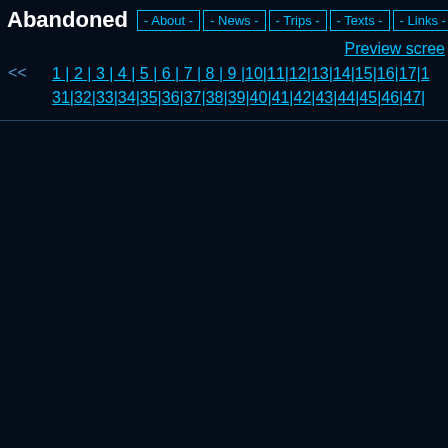Abandoned - About - - News - - Trips - - Texts - - Links - - Thanks -
Preview scree
<< 1 | 2 | 3 | 4 | 5 | 6 | 7 | 8 | 9 |10|11|12|13|14|15|16|17|1... 31|32|33|34|35|36|37|38|39|40|41|42|43|44|45|46|47|